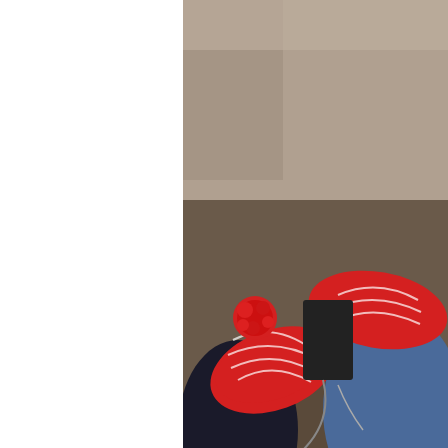[Figure (photo): Close-up photo of two feet wearing red and white knitted slippers with red pom-poms, person wearing dark pants and jeans visible, sitting on a patterned rug/carpet with some floor visible below.]
Slippers.
[Figure (photo): Close-up photo of a colorful patchwork pin cushion with yellow-green and white pins stuck in it, next to a white ceramic mug containing dark tea or coffee, on a wooden table surface with striped fabric in the background.]